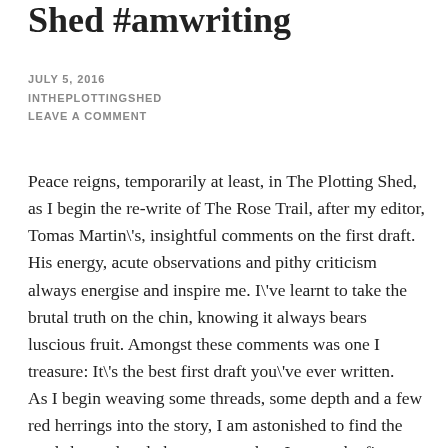Shed #amwriting
JULY 5, 2016
INTHEPLOTTINGSHED
LEAVE A COMMENT
Peace reigns, temporarily at least, in The Plotting Shed, as I begin the re-write of The Rose Trail, after my editor, Tomas Martin\'s, insightful comments on the first draft. His energy, acute observations and pithy criticism always energise and inspire me. I\'ve learnt to take the brutal truth on the chin, knowing it always bears luscious fruit. Amongst these comments was one I treasure: It\'s the best first draft you\'ve ever written.
As I begin weaving some threads, some depth and a few red herrings into the story, I am astonished to find the seeds have already been sown when I wrote the first draft. This happens every time and never ceases to amaze me.